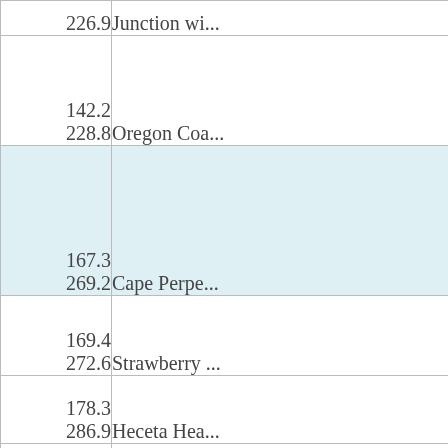| Miles / Km | Location |
| --- | --- |
| 226.9 | Junction wi... |
| 142.2
228.8 | Oregon Coa... |
| 167.3
269.2 | Cape Perpe... |
| 169.4
272.6 | Strawberry ... |
| 178.3
286.9 | Heceta Hea... |
| 179.8
289.3 | Sea Lion Ca... |
| 185.2 | Darlingtoni... |